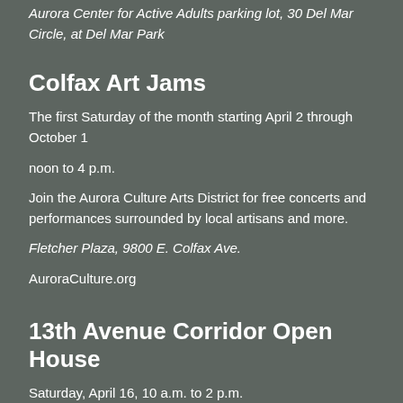Aurora Center for Active Adults parking lot, 30 Del Mar Circle, at Del Mar Park
Colfax Art Jams
The first Saturday of the month starting April 2 through October 1
noon to 4 p.m.
Join the Aurora Culture Arts District for free concerts and performances surrounded by local artisans and more.
Fletcher Plaza, 9800 E. Colfax Ave.
AuroraCulture.org
13th Avenue Corridor Open House
Saturday, April 16, 10 a.m. to 2 p.m.